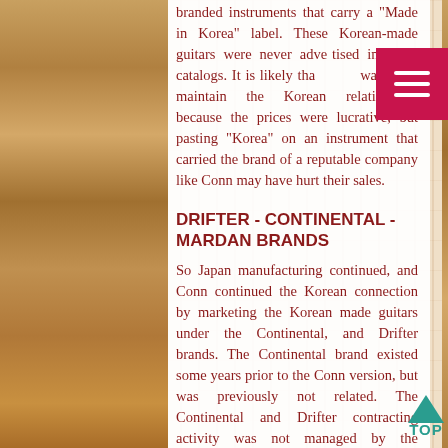branded instruments that carry a "Made in Korea" label. These Korean-made guitars were never advertised in Conn catalogs. It is likely that Conn wanted to maintain the Korean relationship, because the prices were lucrative, but pasting "Korea" on an instrument that carried the brand of a reputable company like Conn may have hurt their sales.
DRIFTER - CONTINENTAL - MARDAN BRANDS
So Japan manufacturing continued, and Conn continued the Korean connection by marketing the Korean made guitars under the Continental, and Drifter brands. The Continental brand existed some years prior to the Conn version, but was previously not related. The Continental and Drifter contracting activity was not managed by the Oakbrook IL facility, but was managed instead by the